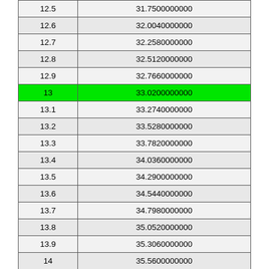| 12.5 | 31.7500000000 |
| 12.6 | 32.0040000000 |
| 12.7 | 32.2580000000 |
| 12.8 | 32.5120000000 |
| 12.9 | 32.7660000000 |
| 13 | 33.0200000000 |
| 13.1 | 33.2740000000 |
| 13.2 | 33.5280000000 |
| 13.3 | 33.7820000000 |
| 13.4 | 34.0360000000 |
| 13.5 | 34.2900000000 |
| 13.6 | 34.5440000000 |
| 13.7 | 34.7980000000 |
| 13.8 | 35.0520000000 |
| 13.9 | 35.3060000000 |
| 14 | 35.5600000000 |
| 14.1 | 35.8140000000 |